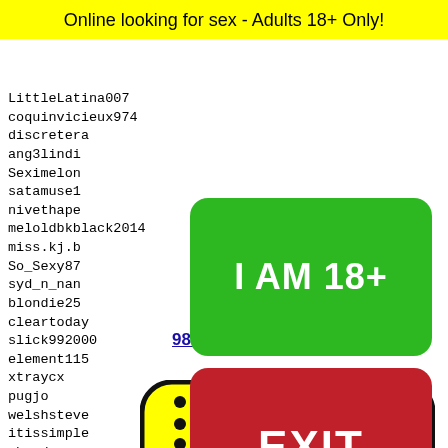Online looking for sex - Adults 18+ Only!
LittleLatina007
coquinvicieux974
discretera...
ang3lindi...
Seximelon...
satamuse1...
nivethape...
meloldbkblack2014
miss.kj.b...
So_Sexy87...
syd_n_nan...
blondie25...
cleartoday...
slick992000
element115
xtraycx
pugjo
welshsteve
itissimple
ahmeds
arno19
gav189
Amaaa
thekin
bbwgir
[Figure (other): Green button with text I AM 18+]
[Figure (other): Red button with text EXIT]
984 985 986 987 988
[Figure (illustration): Yellow smiley face emoji with dots pattern and bow tie]